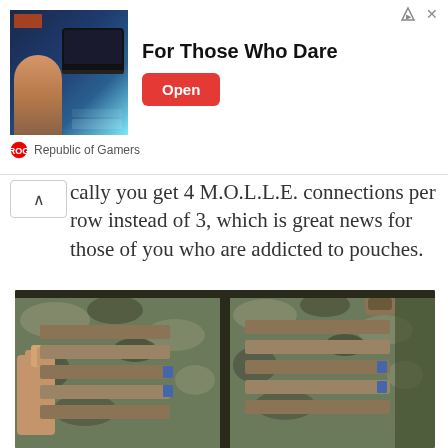[Figure (other): ASUS ROG advertisement banner with image of person holding laptop, text 'For Those Who Dare', Open button, and Republic of Gamers branding]
cally you get 4 M.O.L.L.E. connections per row instead of 3, which is great news for those of you who are addicted to pouches.
Other than that, the sides of these bags are literally (awesomely) identical.
[Figure (photo): Side-by-side comparison of two tactical bags showing MOLLE webbing on the sides, one bag showing a hand gripping it on the left, both in camouflage/multicam pattern with coyote tan webbing straps]